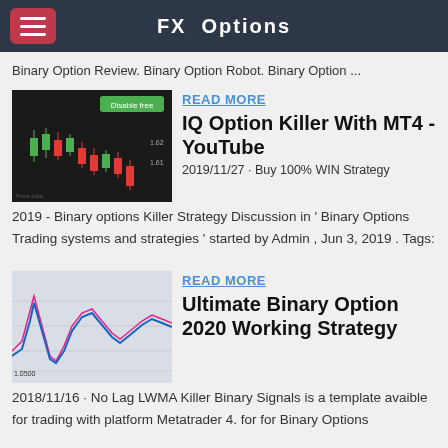FX Options
Binary Option Review. Binary Option Robot. Binary Option ...
READ MORE
[Figure (screenshot): Candlestick chart showing green and red candlesticks on dark background with a green button labeled 'Disable free']
IQ Option Killer With MT4 - YouTube
2019/11/27 · Buy 100% WIN Strategy
2019 - Binary options Killer Strategy Discussion in ' Binary Options Trading systems and strategies ' started by Admin , Jun 3, 2019 . Tags:
READ MORE
[Figure (screenshot): Line chart showing blue and pink/red lines on light grey background, representing trading signals]
Ultimate Binary Option 2020 Working Strategy
2018/11/16 · No Lag LWMA Killer Binary Signals is a template avaible for trading with platform Metatrader 4. for for Binary Options